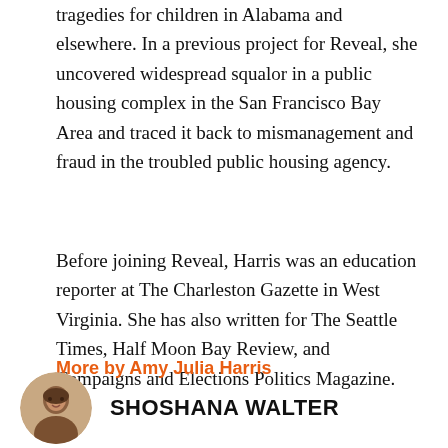tragedies for children in Alabama and elsewhere. In a previous project for Reveal, she uncovered widespread squalor in a public housing complex in the San Francisco Bay Area and traced it back to mismanagement and fraud in the troubled public housing agency.
Before joining Reveal, Harris was an education reporter at The Charleston Gazette in West Virginia. She has also written for The Seattle Times, Half Moon Bay Review, and Campaigns and Elections Politics Magazine.
More by Amy Julia Harris
[Figure (photo): Circular headshot photo of Shoshana Walter]
SHOSHANA WALTER